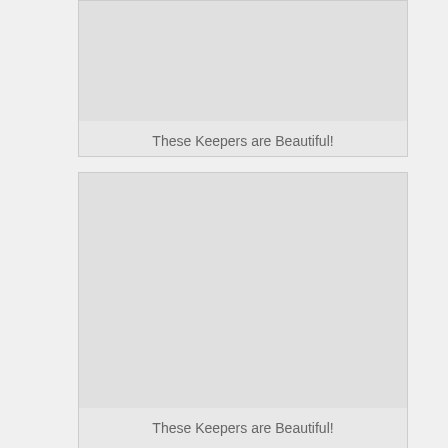[Figure (photo): Image placeholder area for first card]
These Keepers are Beautiful!
[Figure (photo): Image placeholder area for second card]
These Keepers are Beautiful!